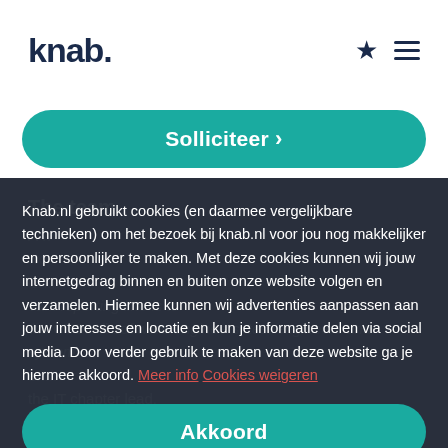knab.
Solliciteer >
The team
A ... working ... Ch... va... the CTO. All software engineers, test engineers and system en... the IT chapter lead.
Knab.nl gebruikt cookies (en daarmee vergelijkbare technieken) om het bezoek bij knab.nl voor jou nog makkelijker en persoonlijker te maken. Met deze cookies kunnen wij jouw internetgedrag binnen en buiten onze website volgen en verzamelen. Hiermee kunnen wij advertenties aanpassen aan jouw interesses en locatie en kun je informatie delen via social media. Door verder gebruik te maken van deze website ga je hiermee akkoord. Meer info Cookies weigeren
Akkoord